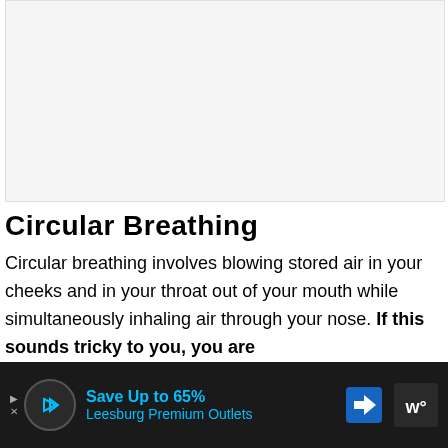[Figure (other): Image placeholder at top of page, light gray background]
Circular Breathing
Circular breathing involves blowing stored air in your cheeks and in your throat out of your mouth while simultaneously inhaling air through your nose. If this sounds tricky to you, you are absolutely right...
[Figure (other): Advertisement banner: Save Up to 65% Leesburg Premium Outlets]